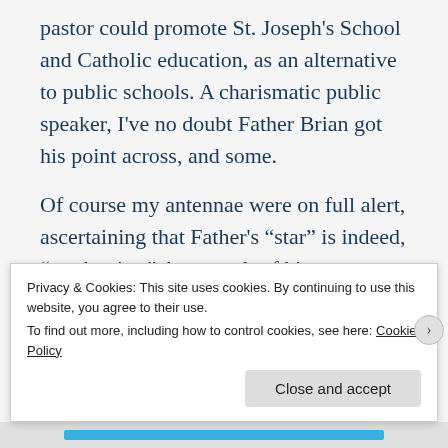pastor could promote St. Joseph's School and Catholic education, as an alternative to public schools. A charismatic public speaker, I've no doubt Father Brian got his point across, and some.
Of course my antennae were on full alert, ascertaining that Father's “star” is indeed, “on the rise.” As a result of his impending 3-year review, I'm almost certain he will be moving onward and upward to a larger parish. He is such an asset to the Church's growth with his youth, energy, intelligence, leadership, people skills, and passion for his calling. He deserves advancement where he can realize the
Privacy & Cookies: This site uses cookies. By continuing to use this website, you agree to their use.
To find out more, including how to control cookies, see here: Cookie Policy
Close and accept